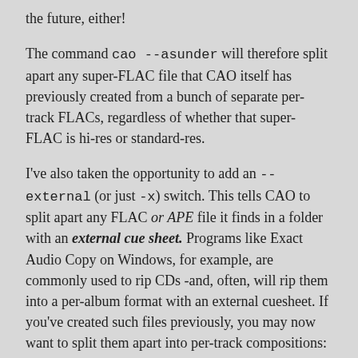the future, either!
The command cao --asunder will therefore split apart any super-FLAC file that CAO itself has previously created from a bunch of separate per-track FLACs, regardless of whether that super-FLAC is hi-res or standard-res.
I've also taken the opportunity to add an --external (or just -x) switch. This tells CAO to split apart any FLAC or APE file it finds in a folder with an external cue sheet. Programs like Exact Audio Copy on Windows, for example, are commonly used to rip CDs -and, often, will rip them into a per-album format with an external cuesheet. If you've created such files previously, you may now want to split them apart into per-track compositions: CAO can do this now, too. I can't guarantee the results, since CAO didn't produce the cuesheet in the first place and cuesheet formatting can be wildly varied, depending on what program was used to generate them. But in all my testing